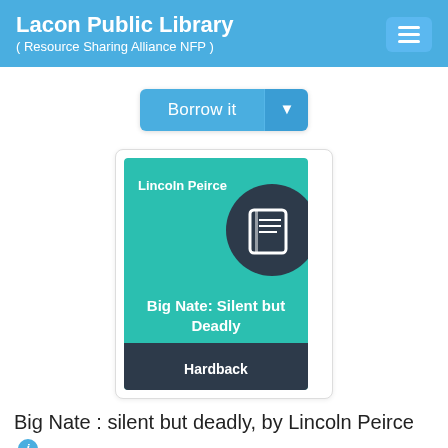Lacon Public Library
( Resource Sharing Alliance NFP )
Borrow it
[Figure (illustration): Book cover for 'Big Nate: Silent but Deadly' by Lincoln Peirce. Teal/green background with author name at top, large dark circle with book icon in upper right, bold white text for title in center, dark navy bar at bottom reading 'Hardback'.]
Big Nate : silent but deadly, by Lincoln Peirce
Creator
Peirce, Lincoln
Author